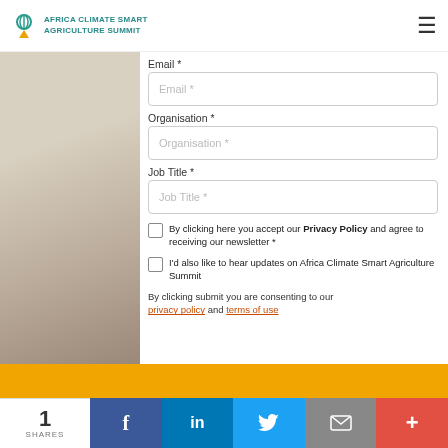Africa Climate Smart Agriculture Summit
[Figure (photo): Partial view of a person with blonde hair, cropped photo on left side of page]
Last Name *
Last Name *
Email *
Email *
Organisation *
Organisation *
Job Title *
Job Title *
By clicking here you accept our Privacy Policy and agree to receiving our newsletter *
I'd also like to hear updates on Africa Climate Smart Agriculture Summit
By clicking submit you are consenting to our privacy policy and terms of use